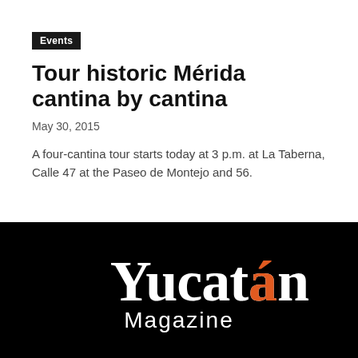Events
Tour historic Mérida cantina by cantina
May 30, 2015
A four-cantina tour starts today at 3 p.m. at La Taberna, Calle 47 at the Paseo de Montejo and 56.
[Figure (logo): Yucatán Magazine logo in white text on black background with orange accent on the á in Yucatán]